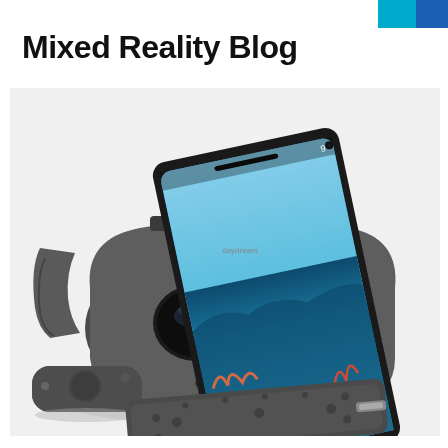Mixed Reality Blog
[Figure (photo): Google Daydream View VR headset with a Google Pixel smartphone inserted, controller remote on the left, and the front face plate detached in front, all on a white surface.]